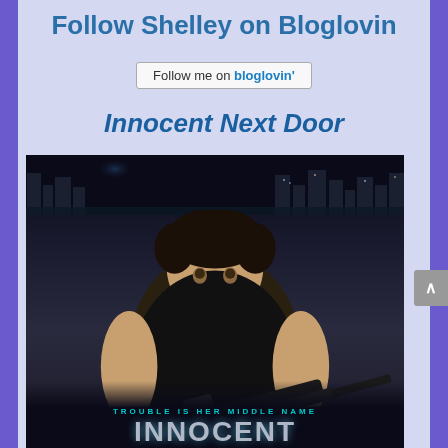Follow Shelley on Bloglovin
[Figure (screenshot): Bloglovin follow button widget showing 'Follow me on bloglovin' text in a bordered button]
Innocent Next Door
[Figure (illustration): Book cover for 'Innocent Next Door' showing a muscular man in a black tank top holding a rifle with a city skyline at night in the background. Text reads 'TROUBLE IS HER MIDDLE NAME' and 'INNOCENT' at the bottom in large metallic letters.]